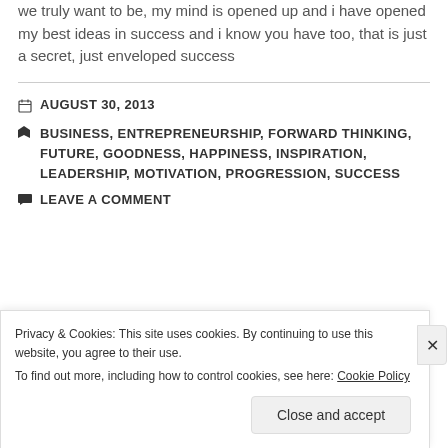we truly want to be, my mind is opened up and i have opened my best ideas in success and i know you have too, that is just a secret, just enveloped success
AUGUST 30, 2013
BUSINESS, ENTREPRENEURSHIP, FORWARD THINKING, FUTURE, GOODNESS, HAPPINESS, INSPIRATION, LEADERSHIP, MOTIVATION, PROGRESSION, SUCCESS
LEAVE A COMMENT
Privacy & Cookies: This site uses cookies. By continuing to use this website, you agree to their use. To find out more, including how to control cookies, see here: Cookie Policy